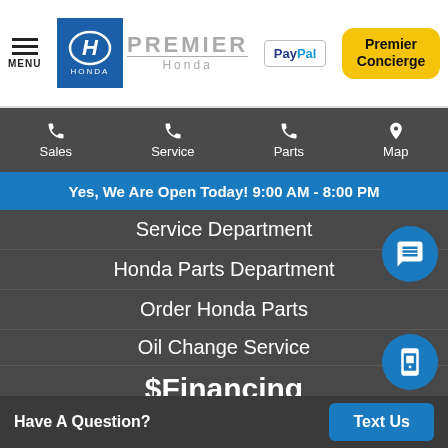MENU | PREMIER Honda | PayPal | Premier Concierge
Sales
Service
Parts
Map
Yes, We Are Open Today! 9:00 AM - 8:00 PM
Service Department
Honda Parts Department
Order Honda Parts
Oil Change Service
$Financing
Credit Application
Finance Department
Have A Question?
Text Us